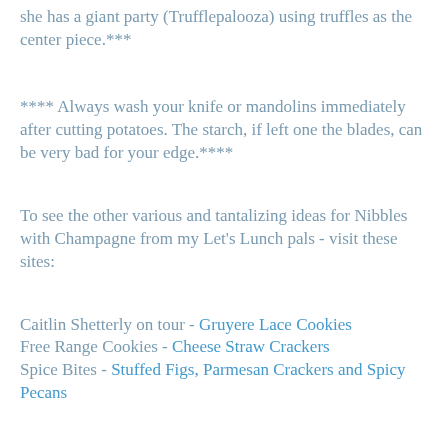she has a giant party (Trufflepalooza) using truffles as the center piece.***
**** Always wash your knife or mandolins immediately after cutting potatoes. The starch, if left one the blades, can be very bad for your edge.****
To see the other various and tantalizing ideas for Nibbles with Champagne from my Let's Lunch pals - visit these sites:
Caitlin Shetterly on tour - Gruyere Lace Cookies
Free Range Cookies - Cheese Straw Crackers
Spice Bites - Stuffed Figs, Parmesan Crackers and Spicy Pecans